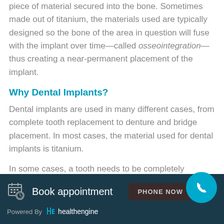piece of material secured into the bone. Sometimes made out of titanium, the materials used are typically designed so the bone of the area in question will fuse with the implant over time—called osseointegration—thus creating a near-permanent placement of the implant.
Why Dental Implants?
Dental implants are used in many different cases, from complete tooth replacement to denture and bridge placement. In most cases, the material used for dental implants is titanium.
In some cases, a tooth needs to be completely
Book appointment  PHONE NOW  Powered By healthengine